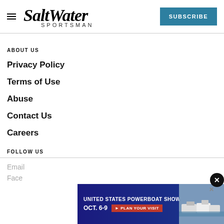Salt Water Sportsman — SUBSCRIBE
ABOUT US
Privacy Policy
Terms of Use
Abuse
Contact Us
Careers
FOLLOW US
Email
Face
[Figure (screenshot): Advertisement banner for United States Powerboat Show, Oct. 6-9, Plan Your Visit, with photo of boats in marina]